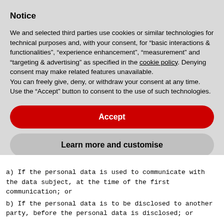Notice
We and selected third parties use cookies or similar technologies for technical purposes and, with your consent, for “basic interactions & functionalities”, “experience enhancement”, “measurement” and “targeting & advertising” as specified in the cookie policy. Denying consent may make related features unavailable.
You can freely give, deny, or withdraw your consent at any time.
Use the “Accept” button to consent to the use of such technologies.
Accept
Learn more and customise
a) If the personal data is used to communicate with the data subject, at the time of the first communication; or
b) If the personal data is to be disclosed to another party, before the personal data is disclosed; or